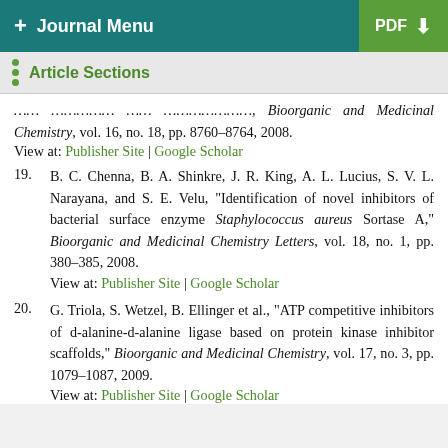+ Journal Menu | PDF
Article Sections
and Medicinal Chemistry, vol. 16, no. 18, pp. 8760–8764, 2008. View at: Publisher Site | Google Scholar
19. B. C. Chenna, B. A. Shinkre, J. R. King, A. L. Lucius, S. V. L. Narayana, and S. E. Velu, "Identification of novel inhibitors of bacterial surface enzyme Staphylococcus aureus Sortase A," Bioorganic and Medicinal Chemistry Letters, vol. 18, no. 1, pp. 380–385, 2008. View at: Publisher Site | Google Scholar
20. G. Triola, S. Wetzel, B. Ellinger et al., "ATP competitive inhibitors of d-alanine-d-alanine ligase based on protein kinase inhibitor scaffolds," Bioorganic and Medicinal Chemistry, vol. 17, no. 3, pp. 1079–1087, 2009. View at: Publisher Site | Google Scholar